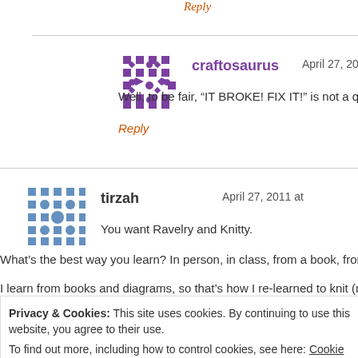Reply
craftosaurus   April 27, 2011 at
Well, to be fair, “IT BROKE! FIX IT!” is not a questio
Reply
tirzah   April 27, 2011 at
You want Ravelry and Knitty.
What’s the best way you learn? In person, in class, from a book, from a vi
I learn from books and diagrams, so that’s how I re-learned to knit (my mo
Privacy & Cookies: This site uses cookies. By continuing to use this website, you agree to their use.
To find out more, including how to control cookies, see here: Cookie Policy
Close and accept